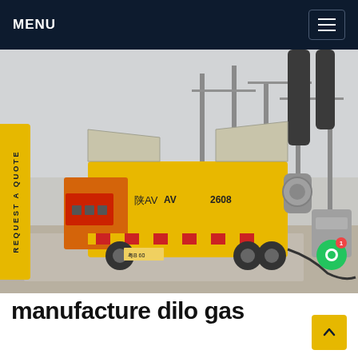MENU
[Figure (photo): Yellow utility truck with open side panels parked at an electrical substation. The truck bears Chinese characters and the plate 'AV 2608'. High-voltage transmission infrastructure visible in the background.]
REQUEST A QUOTE
manufacture dilo gas